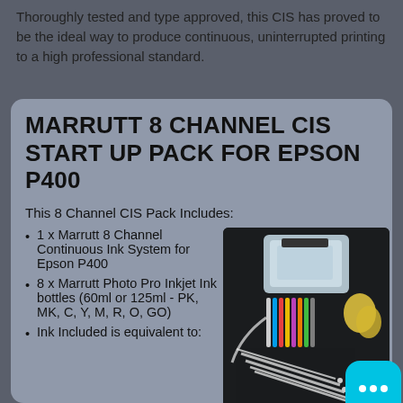Thoroughly tested and type approved, this CIS has proved to be the ideal way to produce continuous, uninterrupted printing to a high professional standard.
MARRUTT 8 CHANNEL CIS START UP PACK FOR EPSON P400
This 8 Channel CIS Pack Includes:
1 x Marrutt 8 Channel Continuous Ink System for Epson P400
8 x Marrutt Photo Pro Inkjet Ink bottles (60ml or 125ml - PK, MK, C, Y, M, R, O, GO)
Ink Included is equivalent to:
[Figure (photo): Product photo showing a Marrutt 8 Channel CIS kit on a dark background, including a plastic container, ink cartridge system with tubes, syringes, and yellow gloves.]